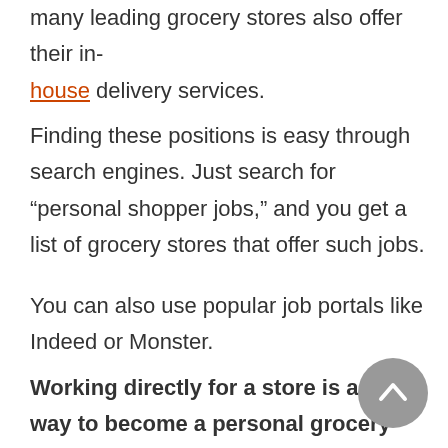many leading grocery stores also offer their in-house delivery services.
Finding these positions is easy through search engines. Just search for “personal shopper jobs,” and you get a list of grocery stores that offer such jobs.
You can also use popular job portals like Indeed or Monster.
Working directly for a store is a great way to become a personal grocery shopper. Most of them will pay you somewhere between of $20 to $30...